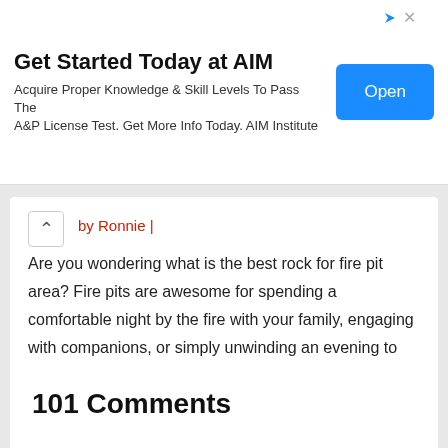[Figure (screenshot): Advertisement banner for AIM Institute with title 'Get Started Today at AIM', subtitle text, and a blue 'Open' button.]
by Ronnie |
Are you wondering what is the best rock for fire pit area? Fire pits are awesome for spending a comfortable night by the fire with your family, engaging with companions, or simply unwinding an evening to two. While there are many logics behind adding a fire pit to...
101 Comments